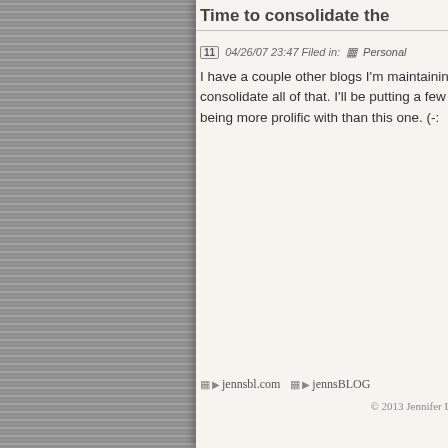Time to consolidate the
04/26/07 23:47 Filed in: Personal
I have a couple other blogs I'm maintaining, consolidate all of that. I'll be putting a few s being more prolific with than this one. (-:
▶ jennsbl.com  ▶ jennsBLOG
© 2013 Jennifer Lande